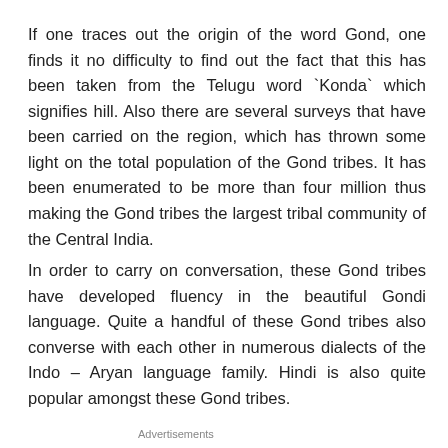If one traces out the origin of the word Gond, one finds it no difficulty to find out the fact that this has been taken from the Telugu word `Konda` which signifies hill. Also there are several surveys that have been carried on the region, which has thrown some light on the total population of the Gond tribes. It has been enumerated to be more than four million thus making the Gond tribes the largest tribal community of the Central India.
In order to carry on conversation, these Gond tribes have developed fluency in the beautiful Gondi language. Quite a handful of these Gond tribes also converse with each other in numerous dialects of the Indo – Aryan language family. Hindi is also quite popular amongst these Gond tribes.
Advertisements